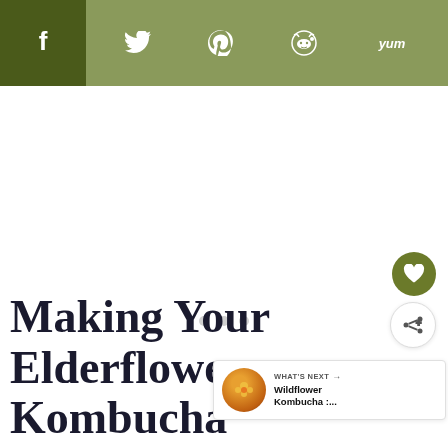[Figure (screenshot): Social share bar with Facebook (dark olive), Twitter, Pinterest, Reddit, and Yummly icons on olive/sage green background]
[Figure (other): Loading dots / ad placeholder area in white content area]
Making Your Elderflower Kombucha
[Figure (other): Floating heart favorite button (dark olive circle) and share button (white circle)]
[Figure (other): What's Next panel with thumbnail and text: Wildflower Kombucha :...]